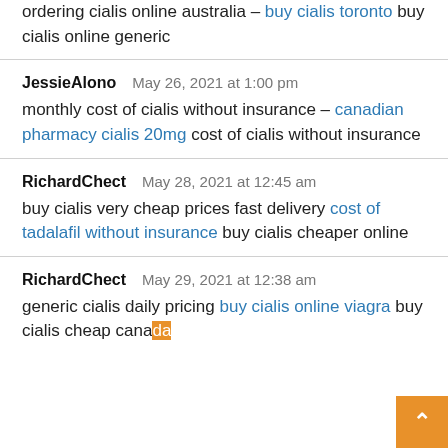ordering cialis online australia – buy cialis toronto buy cialis online generic
JessieAlono   May 26, 2021 at 1:00 pm
monthly cost of cialis without insurance – canadian pharmacy cialis 20mg cost of cialis without insurance
RichardChect   May 28, 2021 at 12:45 am
buy cialis very cheap prices fast delivery cost of tadalafil without insurance buy cialis cheaper online
RichardChect   May 29, 2021 at 12:38 am
generic cialis daily pricing buy cialis online viagra buy cialis cheap canada